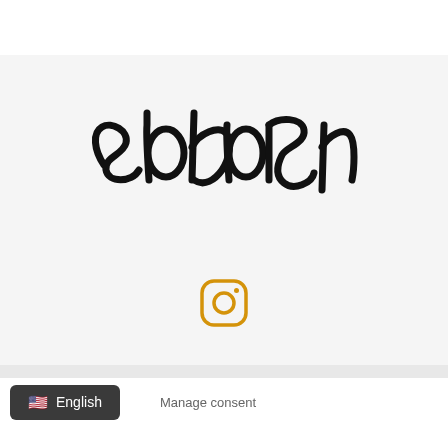[Figure (logo): Sokpsul handwritten logo in black brush lettering on light gray background]
[Figure (logo): Instagram icon in orange/amber color]
© SOKPSUL 2022
Website by Agence Bonobo
English  Manage consent